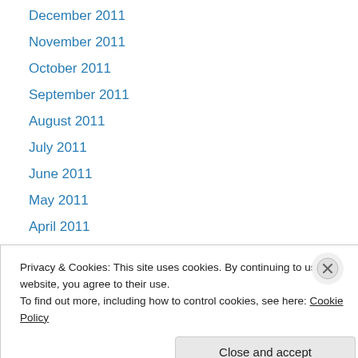December 2011
November 2011
October 2011
September 2011
August 2011
July 2011
June 2011
May 2011
April 2011
March 2011
February 2011
January 2011
December 2010
November 2010 (partial)
Privacy & Cookies: This site uses cookies. By continuing to use this website, you agree to their use. To find out more, including how to control cookies, see here: Cookie Policy
Close and accept